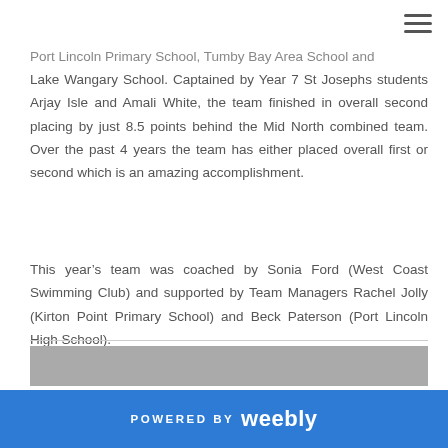Port Lincoln Primary School, Tumby Bay Area School and Lake Wangary School. Captained by Year 7 St Josephs students Arjay Isle and Amali White, the team finished in overall second placing by just 8.5 points behind the Mid North combined team. Over the past 4 years the team has either placed overall first or second which is an amazing accomplishment.
This year’s team was coached by Sonia Ford (West Coast Swimming Club) and supported by Team Managers Rachel Jolly (Kirton Point Primary School) and Beck Paterson (Port Lincoln High School).
[Figure (photo): Partial photo strip visible at bottom of content area]
POWERED BY weebly